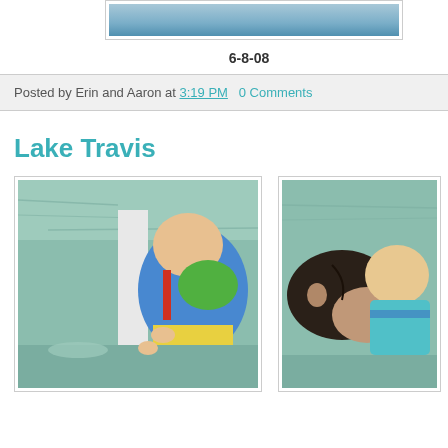[Figure (photo): Partial photo of water/lake scene at top of page]
6-8-08
Posted by Erin and Aaron at 3:19 PM   0 Comments
Lake Travis
[Figure (photo): Baby in colorful life vest leaning over edge of boat toward green lake water]
[Figure (photo): Woman and baby in life vest near green lake water, partially visible]